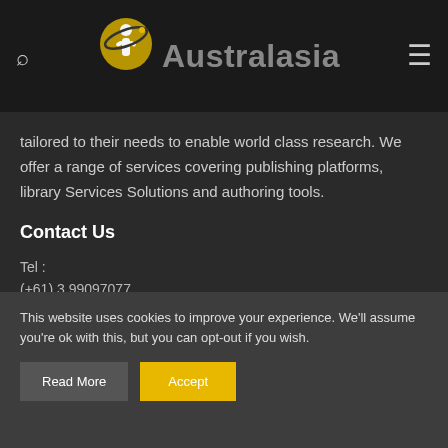Australasia
tailored to their needs to enable world class research. We offer a range of services covering publishing platforms, library Services Solutions and authoring tools.
Contact Us
Tel :
(+61) 3 99097077
This website uses cookies to improve your experience. We'll assume you're ok with this, but you can opt-out if you wish.
Read More  Accept